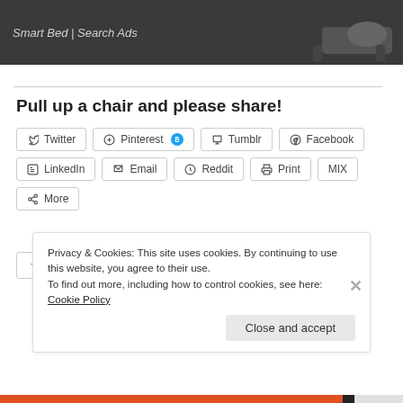[Figure (screenshot): Dark advertisement banner showing 'Smart Bed | Search Ads' text with a bed silhouette on the right]
Pull up a chair and please share!
[Figure (screenshot): Social share buttons: Twitter, Pinterest 8, Tumblr, Facebook, LinkedIn, Email, Reddit, Print, MIX, More]
[Figure (screenshot): Like button with star icon]
263 bloggers like this.
Privacy & Cookies: This site uses cookies. By continuing to use this website, you agree to their use.
To find out more, including how to control cookies, see here: Cookie Policy